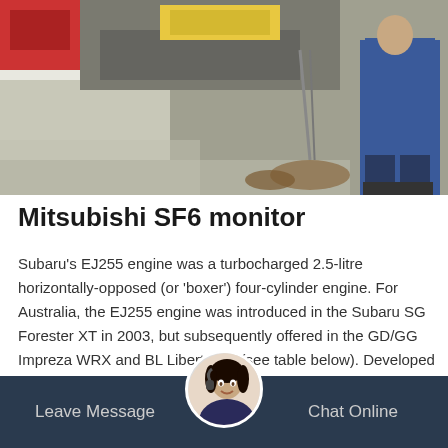[Figure (photo): A garage/workshop scene showing a vehicle being worked on, with a person in blue coveralls visible on the right side.]
Mitsubishi SF6 monitor
Subaru's EJ255 engine was a turbocharged 2.5-litre horizontally-opposed (or 'boxer') four-cylinder engine. For Australia, the EJ255 engine was introduced in the Subaru SG Forester XT in 2003, but subsequently offered in the GD/GG Impreza WRX and BL Liberty GT (see table below). Developed in conjunction with the more powerful EJ257 engine, key features for the EJ255 engine
[Figure (other): Orange 'Get Price' button]
[Figure (other): Dark footer bar with a customer service representative avatar in the center, 'Leave Message' on the left and 'Chat Online' on the right]